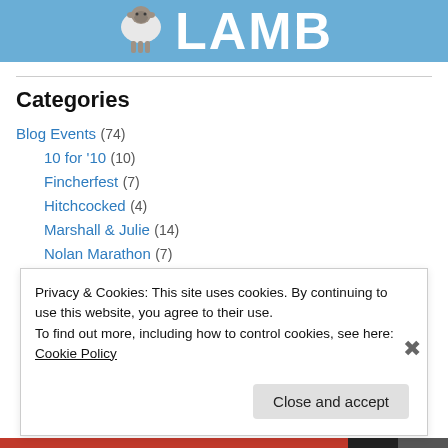[Figure (illustration): Website header banner with blue background, a cartoon sheep illustration on the left, and large white bold text reading 'LAMB']
Categories
Blog Events (74)
10 for '10 (10)
Fincherfest (7)
Hitchcocked (4)
Marshall & Julie (14)
Nolan Marathon (7)
The Origins Project (30)
Privacy & Cookies: This site uses cookies. By continuing to use this website, you agree to their use.
To find out more, including how to control cookies, see here: Cookie Policy
Close and accept